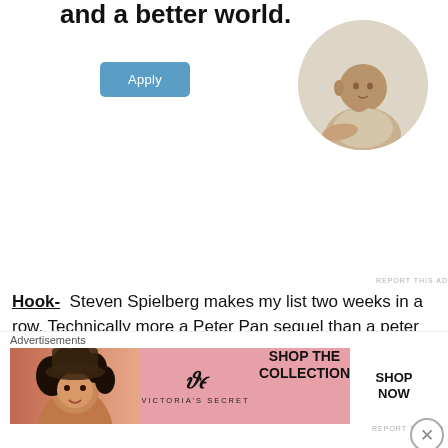[Figure (infographic): Top advertisement area with bold text 'and a better world.' and an Apply button, plus a circular portrait photo of a man thinking at a desk]
and a better world.
[Figure (photo): Circular cropped photo of a man resting his chin on his hand, thinking, at a desk]
REPORT THIS AD
Hook-  Steven Spielberg makes my list two weeks in a row. Technically more a Peter Pan sequel than a peter Pan adaptation, Spielberg's 1991 film is one of his most underappreciated. Now a cynical corporate lawyer who hates flying, Peter Pan (Robin Williams) is all grown up and has literally forgotten
[Figure (photo): Partial image of a person with curly hair and a hat, warm golden tones]
Advertisements
[Figure (infographic): Victoria's Secret advertisement banner with model, VS logo, 'SHOP THE COLLECTION' text, and 'SHOP NOW' button on pink background]
REPORT THIS AD